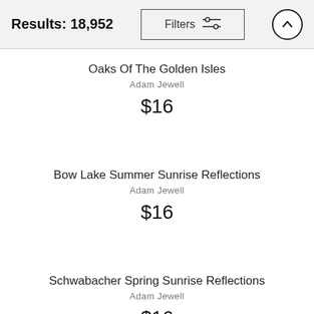Results: 18,952
Oaks Of The Golden Isles
Adam Jewell
$16
Bow Lake Summer Sunrise Reflections
Adam Jewell
$16
Schwabacher Spring Sunrise Reflections
Adam Jewell
$16